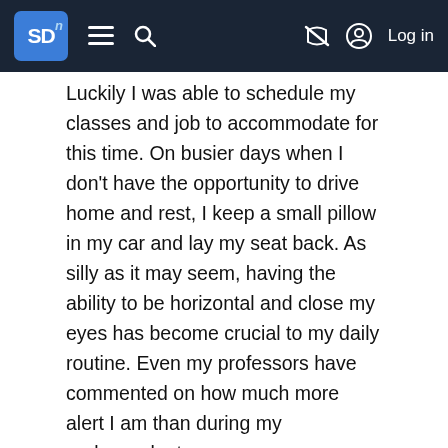SD n  ≡  🔍  [no wifi icon]  [account icon]  Log in
Luckily I was able to schedule my classes and job to accommodate for this time. On busier days when I don't have the opportunity to drive home and rest, I keep a small pillow in my car and lay my seat back. As silly as it may seem, having the ability to be horizontal and close my eyes has become crucial to my daily routine. Even my professors have commented on how much more alert I am than during my undergraduate years.
This time of rest helps my excessive daytime sleepiness, brain fog, and energy levels. No matter what the future brings, I will never give